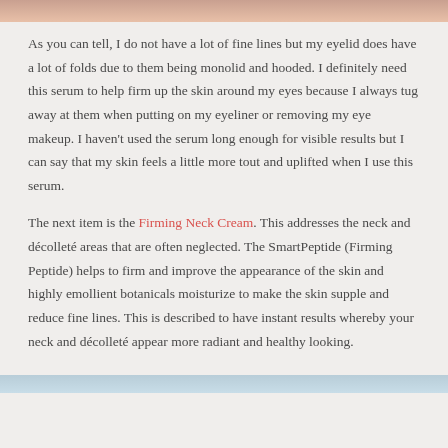[Figure (photo): Top strip showing a cropped photo of skin, pinkish-beige tones]
As you can tell, I do not have a lot of fine lines but my eyelid does have a lot of folds due to them being monolid and hooded. I definitely need this serum to help firm up the skin around my eyes because I always tug away at them when putting on my eyeliner or removing my eye makeup. I haven't used the serum long enough for visible results but I can say that my skin feels a little more tout and uplifted when I use this serum.
The next item is the Firming Neck Cream. This addresses the neck and décolleté areas that are often neglected. The SmartPeptide (Firming Peptide) helps to firm and improve the appearance of the skin and highly emollient botanicals moisturize to make the skin supple and reduce fine lines. This is described to have instant results whereby your neck and décolleté appear more radiant and healthy looking.
[Figure (photo): Bottom strip showing a cropped photo with blue-grey tones]